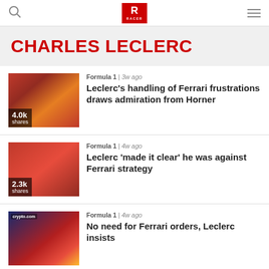RACER
CHARLES LECLERC
Formula 1 | 3w ago
Leclerc's handling of Ferrari frustrations draws admiration from Horner
4.0k shares
Formula 1 | 4w ago
Leclerc 'made it clear' he was against Ferrari strategy
2.3k shares
Formula 1 | 4w ago
No need for Ferrari orders, Leclerc insists